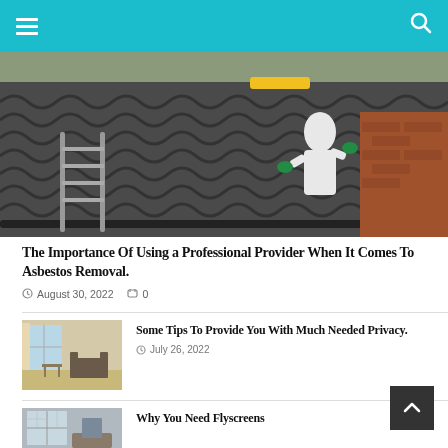Navigation bar with hamburger menu and search icon
[Figure (photo): Worker in white protective suit removing asbestos roofing tiles; corrugated dark roof panels visible]
The Importance Of Using a Professional Provider When It Comes To Asbestos Removal.
August 30, 2022   0
[Figure (photo): Interior room with large windows, armchairs, and curtains providing privacy]
Some Tips To Provide You With Much Needed Privacy.
July 26, 2022
[Figure (photo): Interior room thumbnail for flyscreens article]
Why You Need Flyscreens